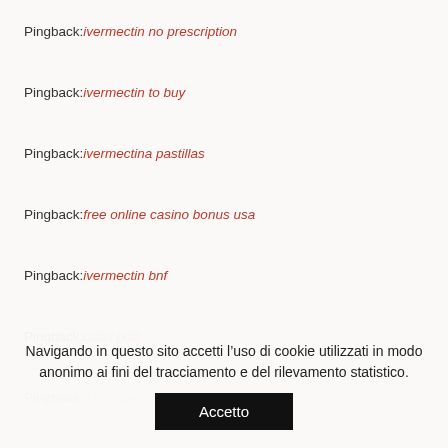Pingback: ivermectin no prescription
Pingback: ivermectin to buy
Pingback: ivermectina pastillas
Pingback: free online casino bonus usa
Pingback: ivermectin bnf
Pingback: cialis pills
Pingback: what does viagra do
Navigando in questo sito accetti l’uso di cookie utilizzati in modo anonimo ai fini del tracciamento e del rilevamento statistico.
Accetto